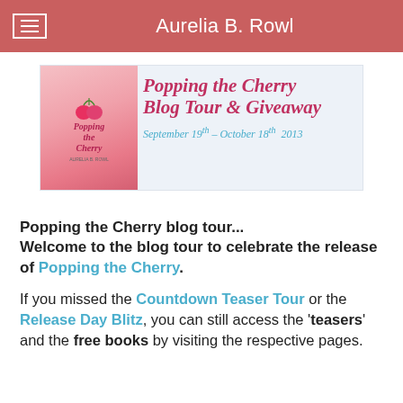Aurelia B. Rowl
[Figure (illustration): Blog tour banner for 'Popping the Cherry Blog Tour & Giveaway' showing the book cover on the left and decorative text on the right. Dates: September 19th – October 18th 2013.]
Popping the Cherry blog tour... Welcome to the blog tour to celebrate the release of Popping the Cherry.
If you missed the Countdown Teaser Tour or the Release Day Blitz, you can still access the 'teasers' and the free books by visiting the respective pages.